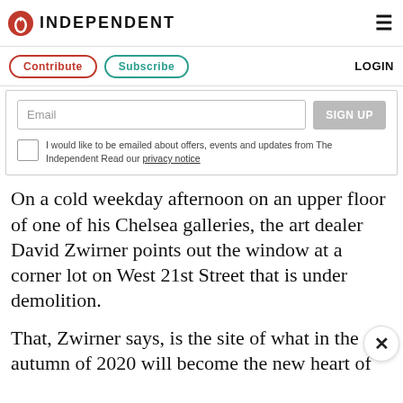INDEPENDENT
[Figure (logo): The Independent logo with red eagle icon and INDEPENDENT wordmark]
Contribute   Subscribe   LOGIN
[Figure (screenshot): Email signup box with email input field, SIGN UP button, and privacy notice checkbox]
On a cold weekday afternoon on an upper floor of one of his Chelsea galleries, the art dealer David Zwirner points out the window at a corner lot on West 21st Street that is under demolition.
That, Zwirner says, is the site of what in the autumn of 2020 will become the new heart of